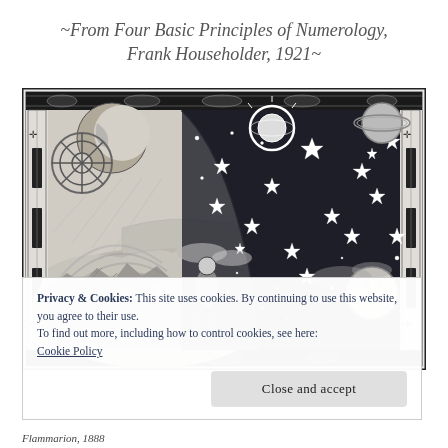~From Four Basic Principles of Numerology, Frank Householder, 1921~
[Figure (illustration): Flammarion engraving — a black and white woodcut illustration showing a figure at the edge of the flat Earth, peering through the celestial sphere. Stars, sun, moon, and cosmic imagery fill the right half; a pastoral landscape fills the left. Ornate decorative border surrounds the image.]
Privacy & Cookies: This site uses cookies. By continuing to use this website, you agree to their use.
To find out more, including how to control cookies, see here:
Cookie Policy
Flammarion, 1888